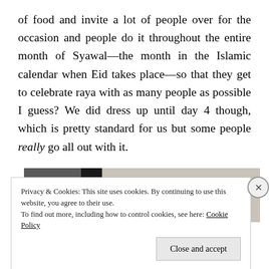of food and invite a lot of people over for the occasion and people do it throughout the entire month of Syawal—the month in the Islamic calendar when Eid takes place—so that they get to celebrate raya with as many people as possible I guess? We did dress up until day 4 though, which is pretty standard for us but some people really go all out with it.
[Figure (photo): Partially visible photograph showing a dark/brown area on the left side and a lighter beige/grey background on the right.]
Privacy & Cookies: This site uses cookies. By continuing to use this website, you agree to their use.
To find out more, including how to control cookies, see here: Cookie Policy
Close and accept